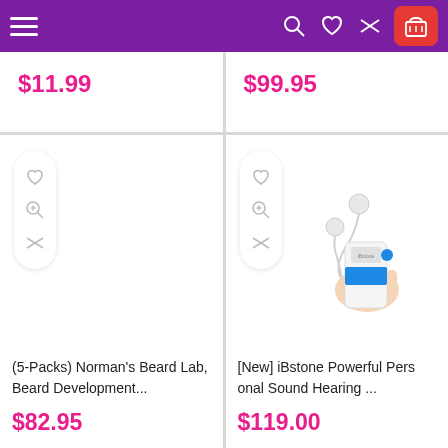[Figure (screenshot): Purple navigation bar with hamburger menu, search, heart/wishlist, compare, and red shopping cart icons]
$11.99
$99.95
(5-Packs) Norman's Beard Lab, Beard Development...
$82.95
[Figure (photo): Hand holding a small white and blue portable hearing amplifier device with earbuds connected by white cord]
[New] iBstone Powerful Personal Sound Hearing ...
$119.00